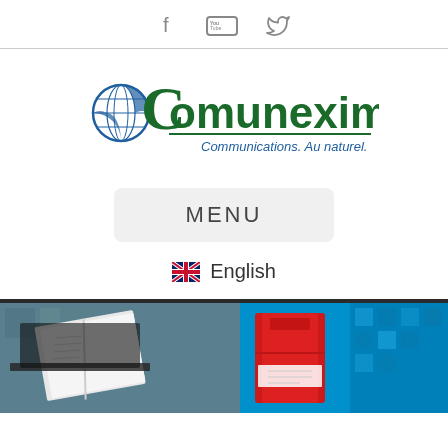Social media icons: Facebook, YouTube, Twitter
[Figure (logo): Comunexim logo with globe icon, green and blue text, tagline: Communications. Au naturel.]
MENU
English
[Figure (photo): Banner image split: left side shows an open book/magazine on dark background; right side shows a red package/box on blue background with pixel grid pattern]